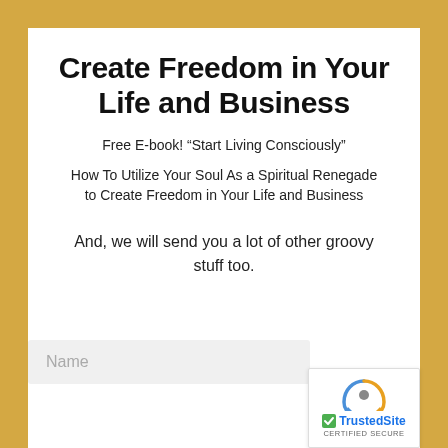Create Freedom in Your Life and Business
Free E-book! “Start Living Consciously”
How To Utilize Your Soul As a Spiritual Renegade to Create Freedom in Your Life and Business
And, we will send you a lot of other groovy stuff too.
[Figure (other): Name input field placeholder and TrustedSite certified secure badge with reCAPTCHA icon]